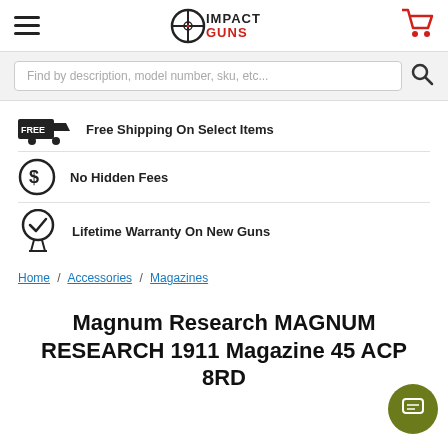[Figure (logo): Impact Guns logo with crosshair scope icon and red text]
Find by description, model number, sku, etc...
Free Shipping On Select Items
No Hidden Fees
Lifetime Warranty On New Guns
Home / Accessories / Magazines
Magnum Research MAGNUM RESEARCH 1911 Magazine 45 ACP 8RD